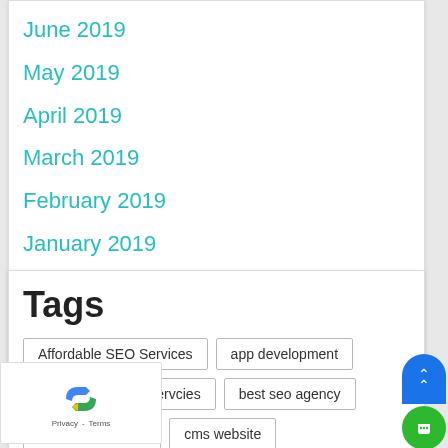June 2019
May 2019
April 2019
March 2019
February 2019
January 2019
December 2018
November 2018
Tags
Affordable SEO Services
app development
app development servcies
best seo agency
best seo services
cms website
custom build website
custom website